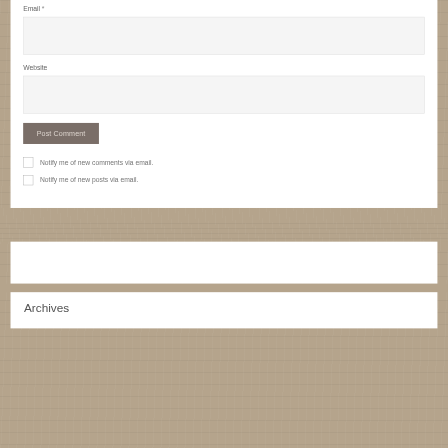Email *
[Figure (other): Empty text input field for email]
Website
[Figure (other): Empty text input field for website]
[Figure (other): Post Comment button]
Notify me of new comments via email.
Notify me of new posts via email.
[Figure (other): Empty white card]
Archives